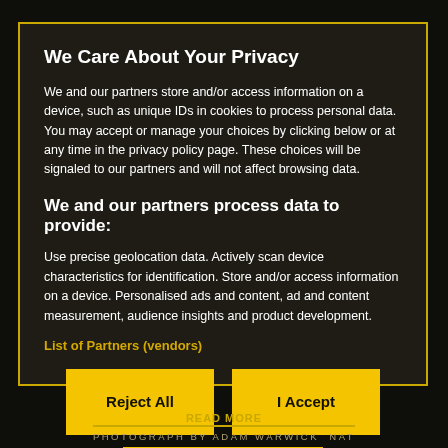We Care About Your Privacy
We and our partners store and/or access information on a device, such as unique IDs in cookies to process personal data. You may accept or manage your choices by clicking below or at any time in the privacy policy page. These choices will be signaled to our partners and will not affect browsing data.
We and our partners process data to provide:
Use precise geolocation data. Actively scan device characteristics for identification. Store and/or access information on a device. Personalised ads and content, ad and content measurement, audience insights and product development.
List of Partners (vendors)
Reject All
I Accept
Show Purposes
Read More PHOTOGRAPH BY ADAM WARWICK NAT